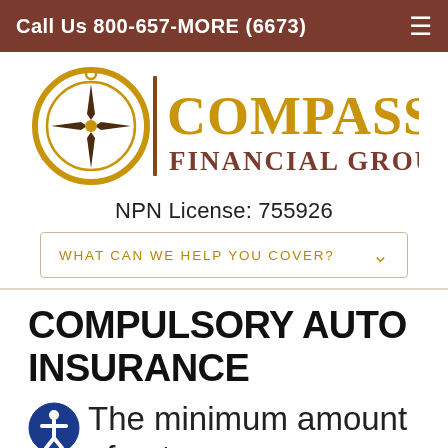Call Us 800-657-MORE (6673)
[Figure (logo): Compass Financial Group, Inc logo with compass rose graphic in gold/brown tones]
NPN License: 755926
WHAT CAN WE HELP YOU COVER?
COMPULSORY AUTO INSURANCE
The minimum amount of auto